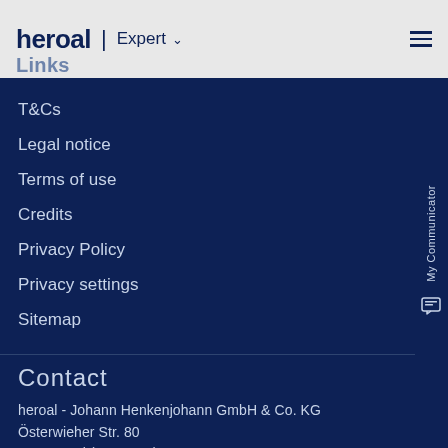heroal | Expert
Links
T&Cs
Legal notice
Terms of use
Credits
Privacy Policy
Privacy settings
Sitemap
Contact
heroal - Johann Henkenjohann GmbH & Co. KG
Österwieher Str. 80
33415 Verl (Germany)
Tel. +49 5246 507-0
info@heroal.de